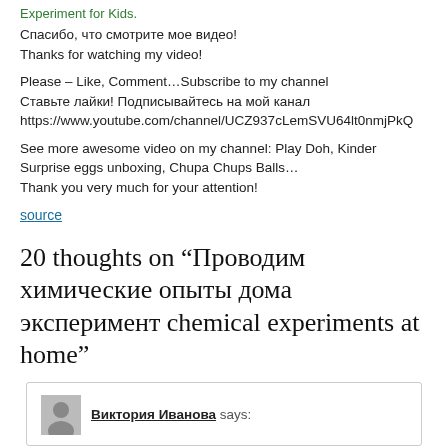Experiment for Kids.
Спасибо, что смотрите мое видео!
Thanks for watching my video!
Please – Like, Comment…Subscribe to my channel
Ставьте лайки! Подписывайтесь на мой канал
https://www.youtube.com/channel/UCZ937cLemSVU64lt0nmjPkQ
See more awesome video on my channel: Play Doh, Kinder Surprise eggs unboxing, Chupa Chups Balls…
Thank you very much for your attention!
source
20 thoughts on “Проводим химические опыты дома эксперимент chemical experiments at home”
Виктория Иванова says: